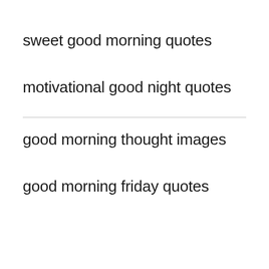sweet good morning quotes
motivational good night quotes
good morning thought images
good morning friday quotes